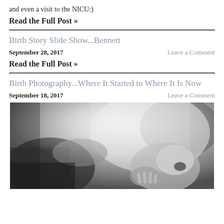and even a visit to the NICU:)
Read the Full Post »
Birth Story Slide Show...Bennett
September 28, 2017
Leave a Comment
Read the Full Post »
Birth Photography...Where It Started to Where It Is Now
September 18, 2017
Leave a Comment
[Figure (photo): Black and white photograph of a newborn baby with mouth open, with adult hands visible, taken in a hospital setting]